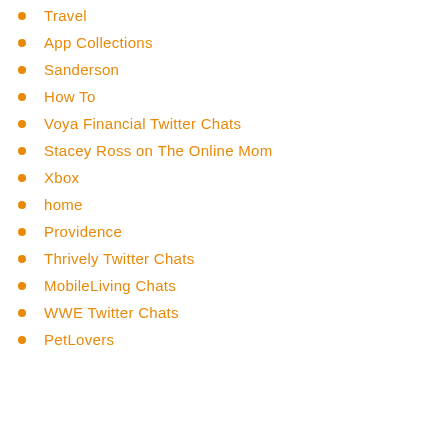Travel
App Collections
Sanderson
How To
Voya Financial Twitter Chats
Stacey Ross on The Online Mom
Xbox
home
Providence
Thrively Twitter Chats
MobileLiving Chats
WWE Twitter Chats
PetLovers